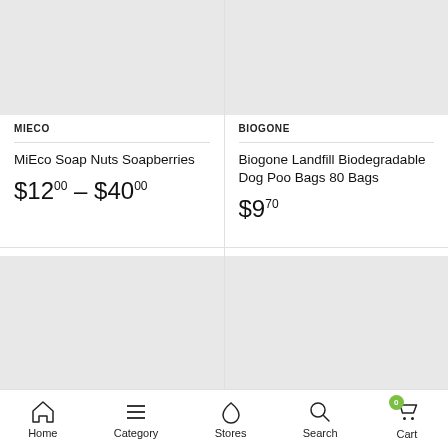[Figure (photo): Product image placeholder for MiEco Soap Nuts Soapberries - light gray rectangle]
MIECO
MiEco Soap Nuts Soapberries
$12.00 – $40.00
[Figure (photo): Product image placeholder for Biogone Landfill Biodegradable Dog Poo Bags - light gray rectangle]
BIOGONE
Biogone Landfill Biodegradable Dog Poo Bags 80 Bags
$9.70
[Figure (photo): Product image placeholder bottom left - light gray rectangle]
[Figure (photo): Product image placeholder bottom right - light gray rectangle]
Home  Category  Stores  Search  Cart